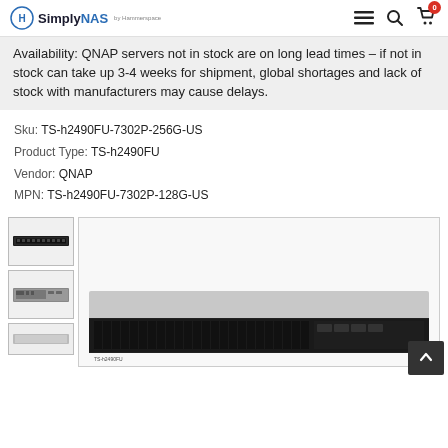SimplyNAS — navigation header with menu, search, and cart icons
Availability: QNAP servers not in stock are on long lead times – if not in stock can take up 3-4 weeks for shipment, global shortages and lack of stock with manufacturers may cause delays.
Sku: TS-h2490FU-7302P-256G-US
Product Type: TS-h2490FU
Vendor: QNAP
MPN: TS-h2490FU-7302P-128G-US
[Figure (photo): Product image gallery with three thumbnails on the left (rackmount NAS device views) and a large main image on the right showing the front of the QNAP TS-h2490FU NAS rackmount device]